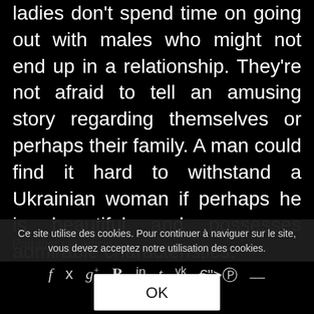ladies don't spend time on going out with males who might not end up in a relationship. They're not afraid to tell an amusing story regarding themselves or perhaps their family. A man could find it hard to withstand a Ukrainian woman if perhaps he is beautiful and possesses admirable characteristics.
Partager cet article
[Figure (infographic): Row of social media sharing icons: f (Facebook), bird (Twitter), g+ (Google+), P (Pinterest), in (LinkedIn), t (Tumblr), vk (VK), Reddit, email]
Ce site utilise des cookies. Pour continuer à naviguer sur le site, vous devez acceptez notre utilisation des cookies.
OK